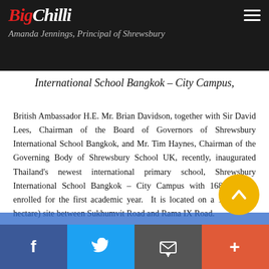BigChilli — Amanda Jennings, Principal of Shrewsbury International School Bangkok – City Campus,
International School Bangkok – City Campus,
British Ambassador H.E. Mr. Brian Davidson, together with Sir David Lees, Chairman of the Board of Governors of Shrewsbury International School Bangkok, and Mr. Tim Haynes, Chairman of the Governing Body of Shrewsbury School UK, recently, inaugurated Thailand's newest international primary school, Shrewsbury International School Bangkok – City Campus with 168 children enrolled for the first academic year.  It is located on a 15-rai (2.4 hectare) site between Sukhumvit Road and Rama IX Road.
Purpose-built for primary school children aged … 11 years with an extraordinarily large investment of Bht 2,600